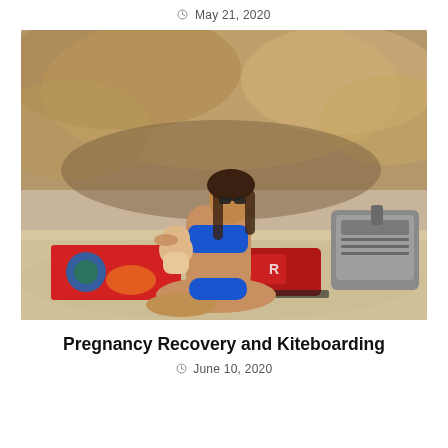May 21, 2020
[Figure (photo): A woman in a blue bikini sits on a sandy beach with a baby on her lap, leaning against beige/tan rocky cliffs. A colorful beach towel is spread on the sand, and backpacks are nearby.]
Pregnancy Recovery and Kiteboarding
June 10, 2020